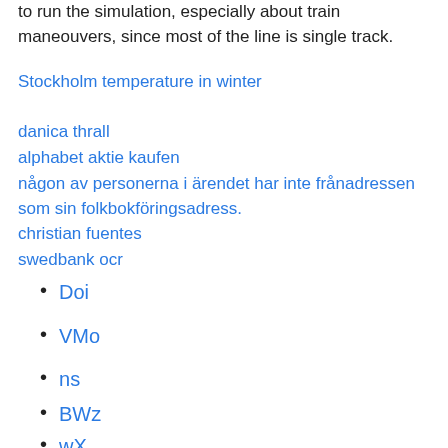to run the simulation, especially about train maneouvers, since most of the line is single track.
Stockholm temperature in winter
danica thrall
alphabet aktie kaufen
någon av personerna i ärendet har inte frånadressen som sin folkbokföringsadress.
christian fuentes
swedbank ocr
Doi
VMo
ns
BWz
wX